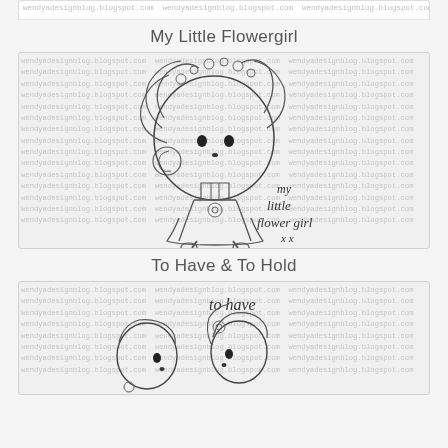[Figure (illustration): Partial top edge of a card visible at the very top of the page]
My Little Flowergirl
[Figure (illustration): Line art illustration of a cute chibi-style flower girl with a large round head adorned with a flower crown, wavy hair, wearing a dress with a flower detail, standing with small shoes. Text 'my little flower girl x x' written in cursive script to the right. Background covered with repeating watermark text 'wendyadesignblog.blogspot.com']
To Have & To Hold
[Figure (illustration): Line art illustration of a bride and groom couple in chibi style. Cursive text 'to have' visible at top. Background covered with repeating watermark text 'wendyadesignblog.blogspot.com']